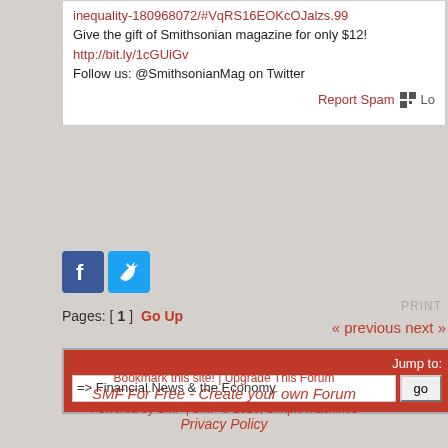inequality-180968072/#VqRS16EOKcOJalzs.99
Give the gift of Smithsonian magazine for only $12!
http://bit.ly/1cGUiGv
Follow us: @SmithsonianMag on Twitter
Report Spam
[Figure (logo): Facebook and Twitter social media icon buttons]
Pages: [1]  Go Up
PRINT
« previous next »
Jump to: => Financial News & the Economy  go
Bookmark this site! | Upgrade This Forum
SMF For Free - Create your own Forum
Powered by SMF | SMF © 2016, Simple Machines
Privacy Policy